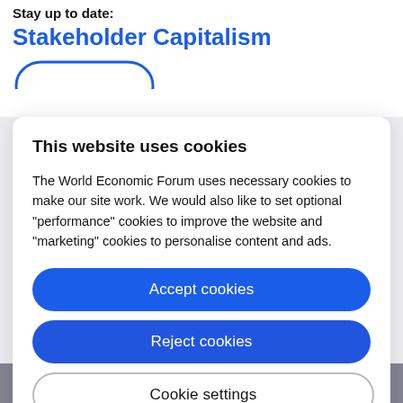Stay up to date:
Stakeholder Capitalism
This website uses cookies
The World Economic Forum uses necessary cookies to make our site work. We would also like to set optional “performance” cookies to improve the website and “marketing” cookies to personalise content and ads.
Accept cookies
Reject cookies
Cookie settings